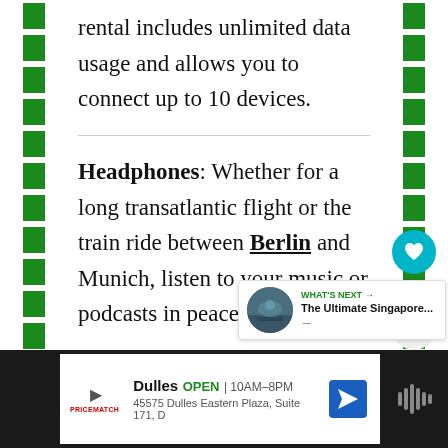rental includes unlimited data usage and allows you to connect up to 10 devices.
Headphones: Whether for a long transatlantic flight or the train ride between Berlin and Munich, listen to your music or podcasts in peace with a pair of
[Figure (other): What's Next overlay showing thumbnail image of Singapore with text 'WHAT'S NEXT → The Ultimate Singapore...']
[Figure (other): Advertisement bar at bottom showing Dulles store, OPEN 10AM-8PM, 45575 Dulles Eastern Plaza, Suite 171, D]